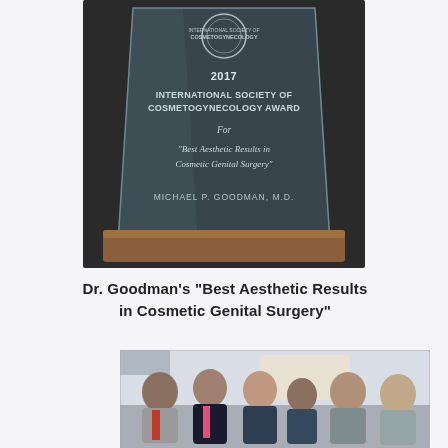[Figure (photo): Photo of a glass award plaque showing '2017 International Society of Cosmetogynecology Award For Best Aesthetic Results in Cosmetic Genital Surgery, Michael P. Goodman, M.D.' with a wooden base, set against a dark background.]
Dr. Goodman's "Best Aesthetic Results in Cosmetic Genital Surgery"
[Figure (photo): Group photo of six men in suits at what appears to be a reception or conference event, standing together and smiling.]